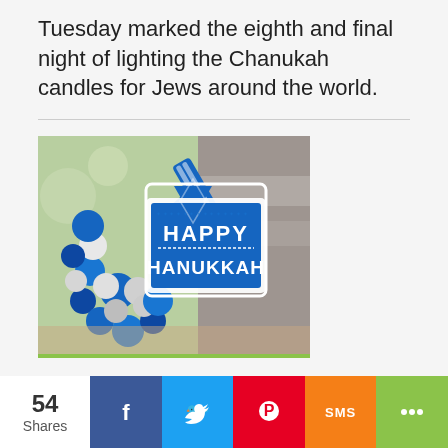Tuesday marked the eighth and final night of lighting the Chanukah candles for Jews around the world.
[Figure (photo): Blue and silver ornament wreath with a blue Star of David sign reading 'HAPPY HANUKKAH']
How do you spell Hanukkah?
Because Hanukkah is a Hebrew word, there is no
54 Shares  [Facebook share button]  [Twitter share button]  [Pinterest share button]  [SMS share button]  [More share button]